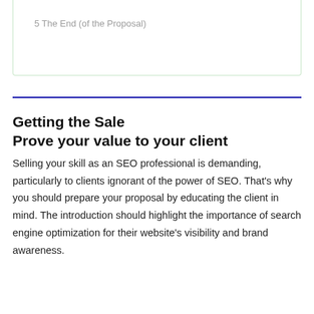5 The End (of the Proposal)
Getting the Sale
Prove your value to your client
Selling your skill as an SEO professional is demanding, particularly to clients ignorant of the power of SEO. That's why you should prepare your proposal by educating the client in mind. The introduction should highlight the importance of search engine optimization for their website's visibility and brand awareness.